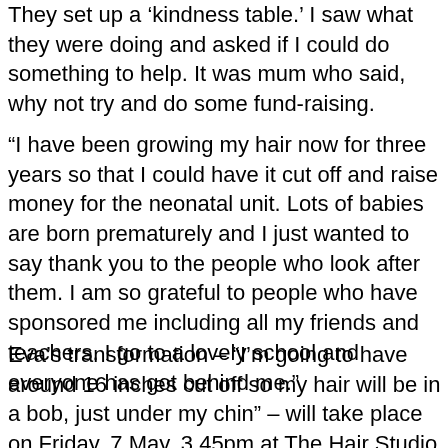They set up a ‘kindness table.’ I saw what they were doing and asked if I could do something to help. It was mum who said, why not try and do some fund-raising.
“I have been growing my hair now for three years so that I could have it cut off and raise money for the neonatal unit. Lots of babies are born prematurely and I just wanted to say thank you to the people who look after them. I am so grateful to people who have sponsored me including all my friends and teachers. I go to a lovely school and everyone has got behind me.”
Eva’s transformation – “I’m going to have around 16 inches cut off so my hair will be in a bob, just under my chin” – will take place on Friday, 7 May, 3.45pm at The Hair Studio, Cullingworth thanks to family friend and hairdresser, Steph Greaves.